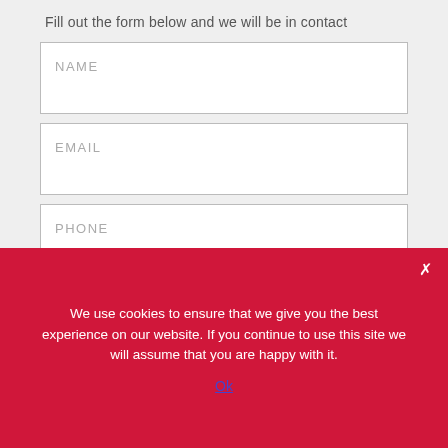Fill out the form below and we will be in contact
[Figure (screenshot): A web contact form with four fields: NAME, EMAIL, PHONE, and MESSAGE (textarea), followed by a partially visible submit button. All fields are white boxes with gray borders and light gray placeholder label text.]
We use cookies to ensure that we give you the best experience on our website. If you continue to use this site we will assume that you are happy with it.
Ok